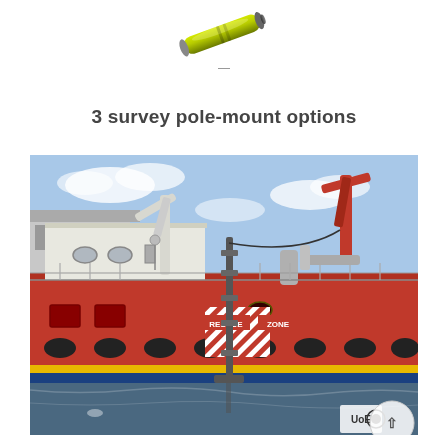[Figure (illustration): 3D render of a yellow-green cylindrical survey instrument/sensor]
3 survey pole-mount options
[Figure (photo): Photo of a large red offshore vessel/ship docked, with a survey pole mounted vertically on the dock in the foreground. The ship has white cranes, a red hull, black fenders, and RESCUE ZONE markings. A small UoE logo is visible in the bottom right corner of the photo.]